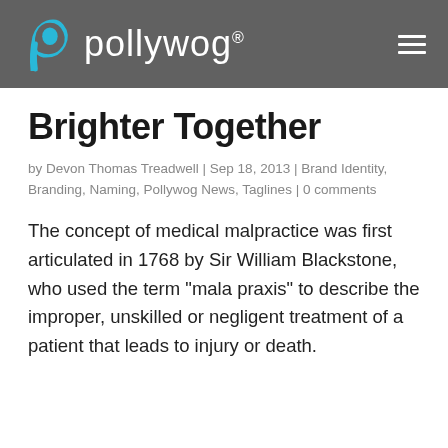pollywog®
Brighter Together
by Devon Thomas Treadwell | Sep 18, 2013 | Brand Identity, Branding, Naming, Pollywog News, Taglines | 0 comments
The concept of medical malpractice was first articulated in 1768 by Sir William Blackstone, who used the term "mala praxis" to describe the improper, unskilled or negligent treatment of a patient that leads to injury or death.